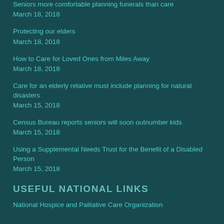Seniors more comfortable planning funerals than care
March 18, 2018
Protecting our elders
March 18, 2018
How to Care for Loved Ones from Miles Away
March 18, 2018
Care for an elderly relative must include planning for natural disasters
March 15, 2018
Census Bureau reports seniors will soon outnumber kids
March 15, 2018
Using a Supplemental Needs Trust for the Benefit of a Disabled Person
March 15, 2018
USEFUL NATIONAL LINKS
National Hospice and Palliative Care Organization